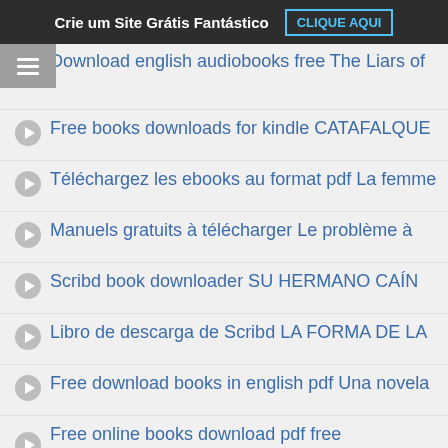Crie um Site Grátis Fantástico  CLIQUE AQUI
Download english audiobooks free The Liars of
Free books downloads for kindle CATAFALQUE
Téléchargez les ebooks au format pdf La femme
Manuels gratuits à télécharger Le problème à
Scribd book downloader SU HERMANO CAÍN
Libro de descarga de Scribd LA FORMA DE LA
Free download books in english pdf Una novela
Free online books download pdf free SQLAlchemy:
Google epub free ebooks download A Flash in the
Free audiobook downloads for iphone These Savage